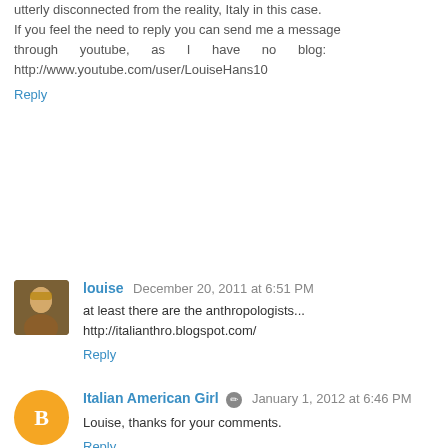utterly disconnected from the reality, Italy in this case. If you feel the need to reply you can send me a message through youtube, as I have no blog: http://www.youtube.com/user/LouiseHans10
Reply
louise  December 20, 2011 at 6:51 PM
at least there are the anthropologists... http://italianthro.blogspot.com/
Reply
Italian American Girl  January 1, 2012 at 6:46 PM
Louise, thanks for your comments.
Reply
Anonymous  January 4, 2012 at 2:19 AM
My gel was discontinued... I'm online researching to find